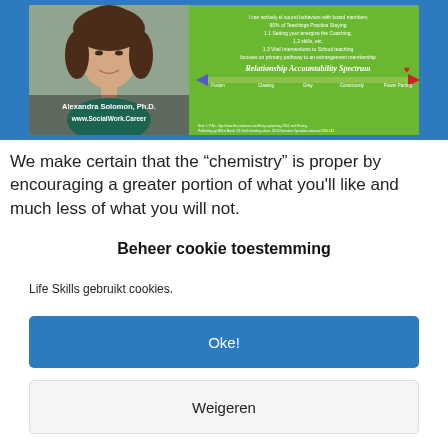[Figure (photo): Image showing Alexandra Solomon Ph.D. headshot on the left with blue background, and a green infographic panel on the right with 'Relationship Accountability Spectrum'. URL www.SocialWork.Career shown at bottom.]
We make certain that the “chemistry” is proper by encouraging a greater portion of what you'll like and much less of what you will not.
Beheer cookie toestemming
Life Skills gebruikt cookies.
Oke!
Weigeren